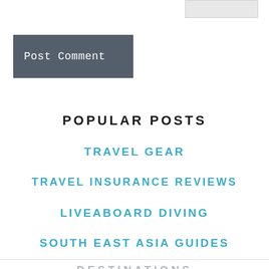[Figure (screenshot): Input/text box UI element in grey, top right corner]
Post Comment
POPULAR POSTS
TRAVEL GEAR
TRAVEL INSURANCE REVIEWS
LIVEABOARD DIVING
SOUTH EAST ASIA GUIDES
DESTINATIONS